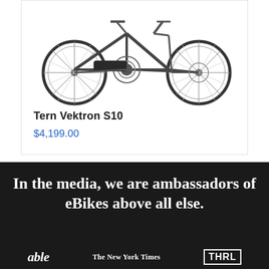[Figure (photo): Photo of a Tern Vektron S10 folding electric bicycle shown from the side against a white background, displaying both wheels, frame, handlebars, and drivetrain components.]
Tern Vektron S10
$4,199.00
In the media, we are ambassadors of eBikes above all else.
[Figure (logo): Media logos: 'able' (partial), The New York Times, and THRL (partial) shown in white on dark background]